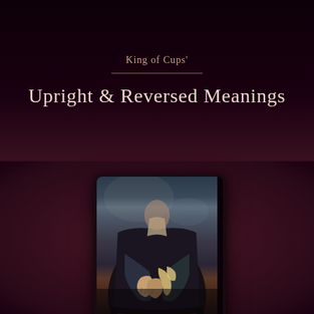King of Cups'
Upright & Reversed Meanings
[Figure (photo): Tarot card depicting a person's hands holding a cup/cane, seated, wearing dark clothing. Card is labeled 'King of Cups' at the bottom. The card has a black border with rounded corners.]